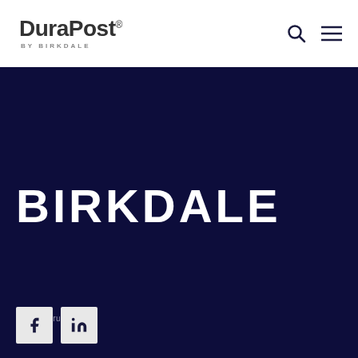[Figure (logo): DuraPost by Birkdale logo - bold dark text with registered trademark symbol and 'BY BIRKDALE' subtitle in grey]
[Figure (infographic): Search icon (magnifying glass) and hamburger menu icon in dark navy]
BIRKDALE
[Figure (logo): Trustpilot star rating widget with green star and grey text]
[Figure (logo): Facebook and LinkedIn social media icon buttons in light grey square buttons]